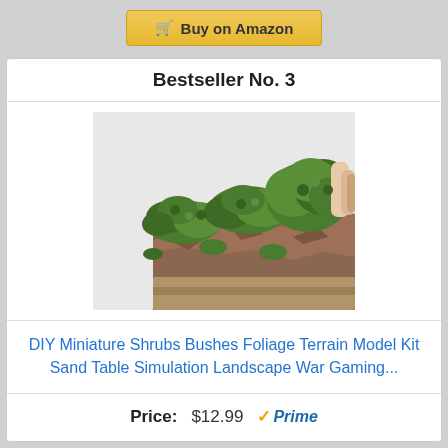Buy on Amazon
Bestseller No. 3
[Figure (photo): Miniature terrain model with green foliage/shrubs and brown rocky base, hand holding a piece]
DIY Miniature Shrubs Bushes Foliage Terrain Model Kit Sand Table Simulation Landscape War Gaming...
Price: $12.99 Prime